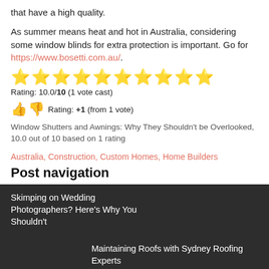that have a high quality.
As summer means heat and hot in Australia, considering some window blinds for extra protection is important. Go for https://www.bosetti.com.au/.
⭐⭐⭐⭐⭐⭐⭐⭐⭐⭐
Rating: 10.0/10 (1 vote cast)
👍👎 Rating: +1 (from 1 vote)
Window Shutters and Awnings: Why They Shouldn't be Overlooked, 10.0 out of 10 based on 1 rating
Australia, Construction, Custom Homes, Home Builders
Post navigation
Skimping on Wedding Photographers? Here's Why You Shouldn't
Maintaining Roofs with Sydney Roofing Experts